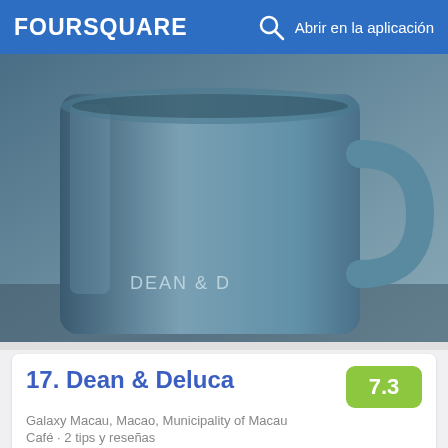FOURSQUARE  🔍  Abrir en la aplicación
[Figure (photo): Close-up photo of a dark blue/grey ceramic Dean & D (Dean & Deluca) coffee mug on a table in a cafe.]
17. Dean & Deluca
Galaxy Macau, Macao, Municipality of Macau
Café · 2 tips y reseñas
SV Ah Ma: Welcome addition to the galaxy mall, nice snacks, decent coffee (for an American brand)
[Figure (photo): Partial view of a building exterior or structure with metallic/industrial architectural elements, shown at bottom of page.]